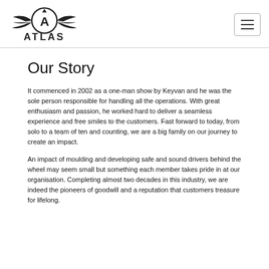ATLAS
Our Story
It commenced in 2002 as a one-man show by Keyvan and he was the sole person responsible for handling all the operations. With great enthusiasm and passion, he worked hard to deliver a seamless experience and free smiles to the customers. Fast forward to today, from solo to a team of ten and counting, we are a big family on our journey to create an impact.
An impact of moulding and developing safe and sound drivers behind the wheel may seem small but something each member takes pride in at our organisation. Completing almost two decades in this industry, we are indeed the pioneers of goodwill and a reputation that customers treasure for lifelong.